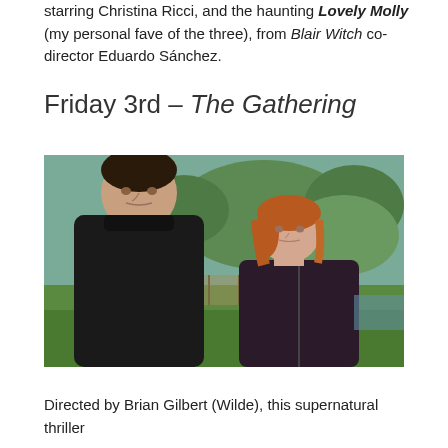starring Christina Ricci, and the haunting Lovely Molly (my personal fave of the three), from Blair Witch co-director Eduardo Sánchez.
Friday 3rd – The Gathering
[Figure (photo): A man in a black turtleneck sweater stands to the left, looking serious, with a woman with auburn hair in a dark top to his right, both against a green outdoor background with trees.]
Directed by Brian Gilbert (Wilde), this supernatural thriller